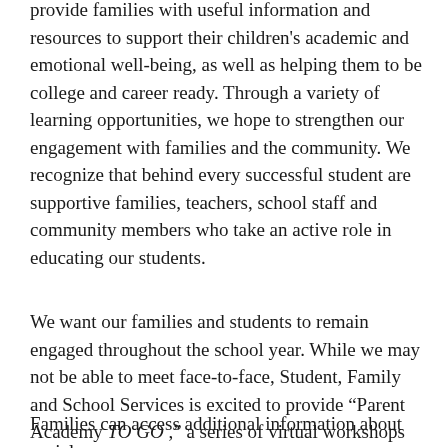provide families with useful information and resources to support their children's academic and emotional well-being, as well as helping them to be college and career ready. Through a variety of learning opportunities, we hope to strengthen our engagement with families and the community. We recognize that behind every successful student are supportive families, teachers, school staff and community members who take an active role in educating our students.
We want our families and students to remain engaged throughout the school year. While we may not be able to meet face-to-face, Student, Family and School Services is excited to provide “Parent Academy TO GO ,” a series of virtual workshops for families to view at home.
Families can access additional information about social